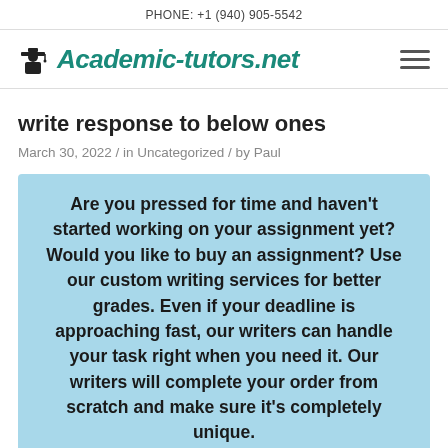PHONE: +1 (940) 905-5542
[Figure (logo): Academic-tutors.net logo with graduation cap icon and teal italic bold text]
write response to below ones
March 30, 2022 / in Uncategorized / by Paul
Are you pressed for time and haven't started working on your assignment yet? Would you like to buy an assignment? Use our custom writing services for better grades. Even if your deadline is approaching fast, our writers can handle your task right when you need it. Our writers will complete your order from scratch and make sure it's completely unique.